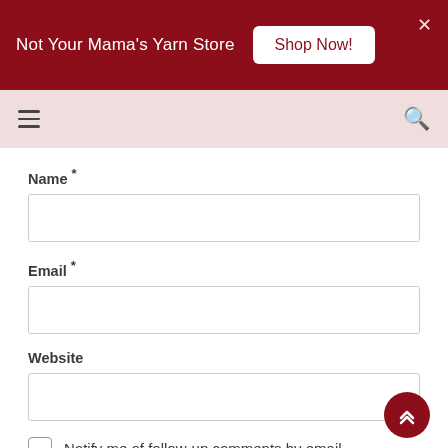Not Your Mama's Yarn Store  Shop Now!
[Figure (screenshot): Navigation bar with hamburger menu icon on the left and search icon on the right, on a light pink background]
Name *
Email *
Website
Notify me of follow-up comments by email.
Notify me of new posts by email.